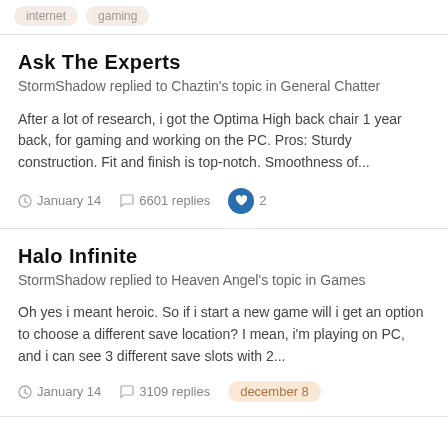internet  gaming
Ask The Experts
StormShadow replied to Chaztin's topic in General Chatter
After a lot of research, i got the Optima High back chair 1 year back, for gaming and working on the PC. Pros: Sturdy construction. Fit and finish is top-notch. Smoothness of...
January 14   6601 replies   2
Halo Infinite
StormShadow replied to Heaven Angel's topic in Games
Oh yes i meant heroic. So if i start a new game will i get an option to choose a different save location? I mean, i'm playing on PC, and i can see 3 different save slots with 2...
January 14   3109 replies   december 8